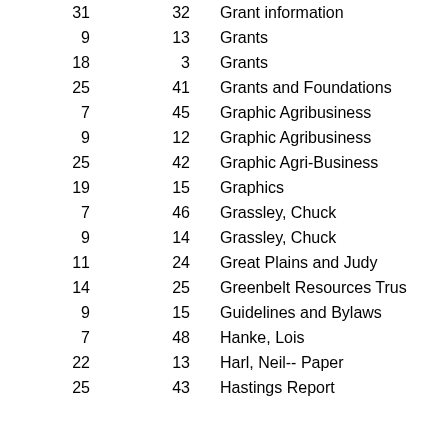| Col1 | Col2 | Description |
| --- | --- | --- |
| 31 | 32 | Grant information |
| 9 | 13 | Grants |
| 18 | 3 | Grants |
| 25 | 41 | Grants and Foundations |
| 7 | 45 | Graphic Agribusiness |
| 9 | 12 | Graphic Agribusiness |
| 25 | 42 | Graphic Agri-Business |
| 19 | 15 | Graphics |
| 7 | 46 | Grassley, Chuck |
| 9 | 14 | Grassley, Chuck |
| 11 | 24 | Great Plains and Judy |
| 14 | 25 | Greenbelt Resources Trust |
| 9 | 15 | Guidelines and Bylaws |
| 7 | 48 | Hanke, Lois |
| 22 | 13 | Harl, Neil-- Paper |
| 25 | 43 | Hastings Report |